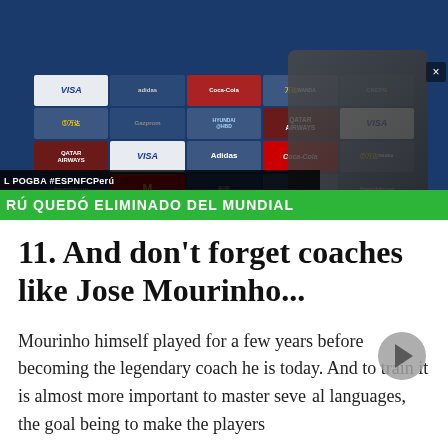[Figure (screenshot): A screenshot of a sports TV broadcast showing a person being interviewed at a FIFA World Cup press conference backdrop with sponsor logos including VISA, Qatar Airways, Coca-Cola, Wanda, Adidas, Hyundai, Vivo, McDonald's. Lower bar shows 'L POGBA #ESPNFCPerú' and green ticker reads 'RÚ QUEDÓ ELIMINADO DEL MUNDIAL']
11. And don't forget coaches like Jose Mourinho...
Mourinho himself played for a few years before becoming the legendary coach he is today. And to train it is almost more important to master several languages, the goal being to make the players